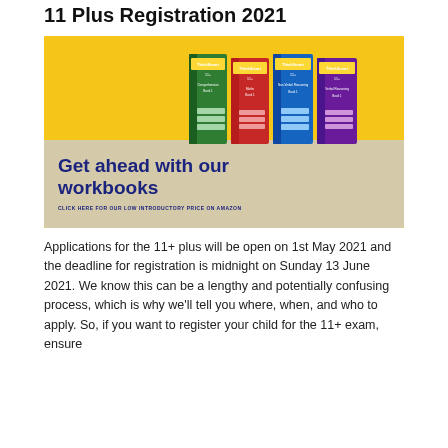11 Plus Registration 2021
[Figure (illustration): Advertisement image showing four ThinkSmart workbooks (green, red, blue, purple) standing on a beige surface against a yellow background, with text 'Get ahead with our workbooks' and 'CLICK HERE FOR OUR LOW INTRODUCTORY PRICE ON AMAZON']
Applications for the 11+ plus will be open on 1st May 2021 and the deadline for registration is midnight on Sunday 13 June 2021. We know this can be a lengthy and potentially confusing process, which is why we'll tell you where, when, and who to apply. So, if you want to register your child for the 11+ exam, ensure